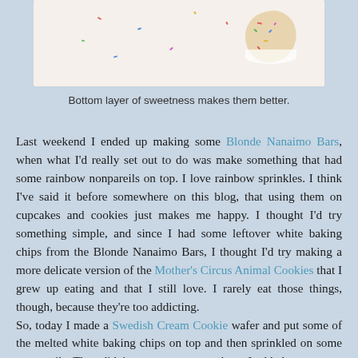[Figure (photo): Photo of a cookie/wafer with rainbow sprinkles on a white background, partially cropped]
Bottom layer of sweetness makes them better.
Last weekend I ended up making some Blonde Nanaimo Bars, when what I'd really set out to do was make something that had some rainbow nonpareils on top. I love rainbow sprinkles. I think I've said it before somewhere on this blog, that using them on cupcakes and cookies just makes me happy. I thought I'd try something simple, and since I had some leftover white baking chips from the Blonde Nanaimo Bars, I thought I'd try making a more delicate version of the Mother's Circus Animal Cookies that I grew up eating and that I still love. I rarely eat those things, though, because they're too addicting.
So, today I made a Swedish Cream Cookie wafer and put some of the melted white baking chips on top and then sprinkled on some nonpareils. They didn't seem sweet enough, so I added some more of the melted chips onto the bottoms. This helped, but overall, I don't know if I'd say this experiment was a success. Looking at them makes me